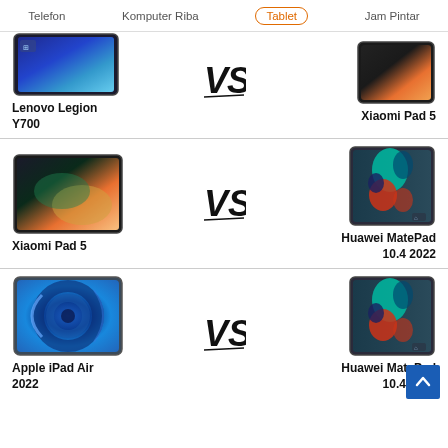Telefon  Komputer Riba  Tablet  Jam Pintar
[Figure (screenshot): Comparison row 1 (partial): Lenovo Legion Y700 vs Xiaomi Pad 5 tablet images with VS label]
Lenovo Legion Y700
Xiaomi Pad 5
[Figure (screenshot): Comparison row 2: Xiaomi Pad 5 vs Huawei MatePad 10.4 2022 tablet images with VS label]
Xiaomi Pad 5
Huawei MatePad 10.4 2022
[Figure (screenshot): Comparison row 3: Apple iPad Air 2022 vs Huawei MatePad 10.4 2022 tablet images with VS label]
Apple iPad Air 2022
Huawei MatePad 10.4 2022